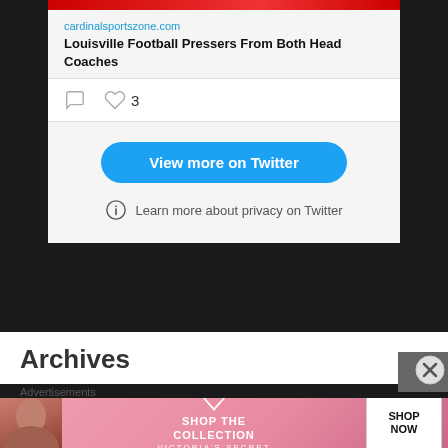[Figure (screenshot): Twitter/X embedded card showing a link to cardinalsportszone.com article titled 'Louisville Football Pressers From Both Head Coaches' with a red image bar at top, comment and like icons (3 likes), a 'View more on Twitter' blue button, and a 'Learn more about privacy on Twitter' info link.]
Archives
Advertisements
[Figure (photo): Victoria's Secret advertisement banner showing a model, the VS logo, 'SHOP THE COLLECTION' text, and a 'SHOP NOW' white button.]